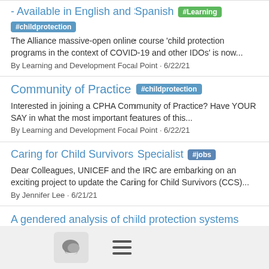- Available in English and Spanish #Learning
#childprotection
The Alliance massive-open online course 'child protection programs in the context of COVID-19 and other IDOs' is now...
By Learning and Development Focal Point · 6/22/21
Community of Practice #childprotection
Interested in joining a CPHA Community of Practice? Have YOUR SAY in what the most important features of this...
By Learning and Development Focal Point · 6/22/21
Caring for Child Survivors Specialist #jobs
Dear Colleagues, UNICEF and the IRC are embarking on an exciting project to update the Caring for Child Survivors (CCS)...
By Jennifer Lee · 6/21/21
A gendered analysis of child protection systems responses in COVID-19 programming in South Asia #childprotection #ChildrenInDetention #endviolenceathome
[Figure (other): Bottom navigation bar with a chat bubble icon button and a hamburger menu icon]